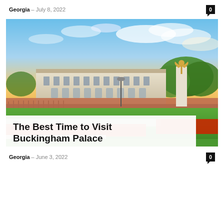Georgia – July 8, 2022
[Figure (photo): Buckingham Palace at sunset with colorful flower gardens in the foreground and Victoria Memorial statue on the right]
The Best Time to Visit Buckingham Palace
Georgia – June 3, 2022